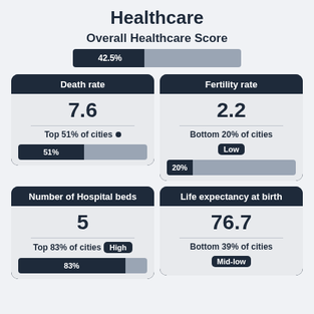Healthcare
Overall Healthcare Score
[Figure (bar-chart): Overall Healthcare Score]
[Figure (infographic): Death rate card: value 7.6, Top 51% of cities, bar showing 51%]
[Figure (infographic): Fertility rate card: value 2.2, Bottom 20% of cities, Low badge, bar showing 20%]
[Figure (infographic): Number of Hospital beds card: value 5, Top 83% of cities, High badge, bar showing 83%]
[Figure (infographic): Life expectancy at birth card: value 76.7, Bottom 39% of cities, Mid-low badge]